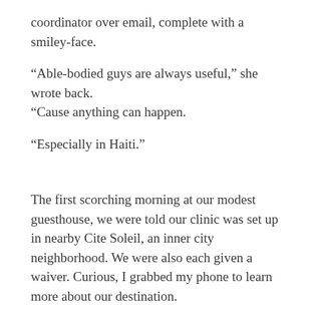coordinator over email, complete with a smiley-face.
“Able-bodied guys are always useful,” she wrote back. “Cause anything can happen.
“Especially in Haiti.”
The first scorching morning at our modest guesthouse, we were told our clinic was set up in nearby Cite Soleil, an inner city neighborhood. We were also each given a waiver. Curious, I grabbed my phone to learn more about our destination.
Waiting for the hopelessly slow Wifi to play ball, I noticed our security guard carrying a pistol grip shotgun, a 12-gauge Mossberg. Not exactly pepper spray and a walkie-talkie, I thought. Google explained why.